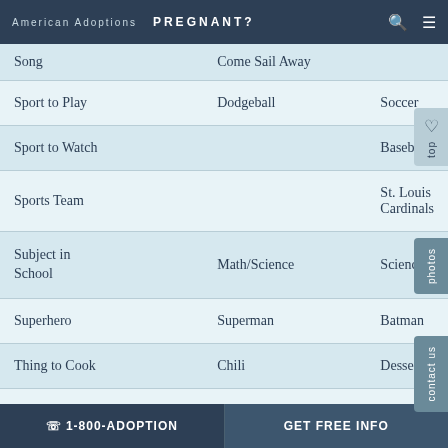American Adoptions  PREGNANT?
| Category | Person 1 | Person 2 |
| --- | --- | --- |
| Song | Come Sail Away |  |
| Sport to Play | Dodgeball | Soccer |
| Sport to Watch |  | Baseball |
| Sports Team |  | St. Louis Cardinals |
| Subject in School | Math/Science | Science |
| Superhero | Superman | Batman |
| Thing to Cook | Chili | Desserts |
| Time of Day | Morning |  |
| Tradition |  | Family Dinners |
☎ 1-800-ADOPTION    GET FREE INFO